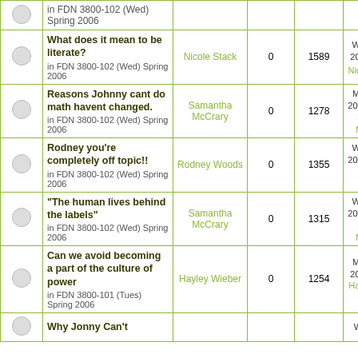|  | Topic | Author | Replies | Views | Last Post |
| --- | --- | --- | --- | --- | --- |
|  | in FDN 3800-102 (Wed) Spring 2006 |  |  |  | gayle |
|  | What does it mean to be literate?
in FDN 3800-102 (Wed) Spring 2006 | Nicole Stack | 0 | 1589 | Wed Feb 15, 2006 1:37 pm
Nicole Stack |
|  | Reasons Johnny cant do math havent changed.
in FDN 3800-102 (Wed) Spring 2006 | Samantha McCrary | 0 | 1278 | Mon Feb 13, 2006 10:34 am
Samantha McCrary |
|  | Rodney you're completely off topic!!
in FDN 3800-102 (Wed) Spring 2006 | Rodney Woods | 0 | 1355 | Wed Feb 08, 2006 11:43 am
Rodney Woods |
|  | "The human lives behind the labels"
in FDN 3800-102 (Wed) Spring 2006 | Samantha McCrary | 0 | 1315 | Wed Feb 08, 2006 11:01 am
Samantha McCrary |
|  | Can we avoid becoming a part of the culture of power
in FDN 3800-101 (Tues) Spring 2006 | Hayley Wieber | 0 | 1254 | Mon Feb 06, 2006 9:10 pm
Hayley Wieber |
|  | Why Jonny Can't |  |  |  | Wed Jan 25 |